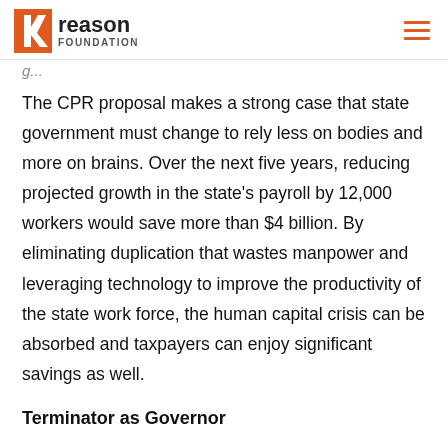Reason Foundation
The CPR proposal makes a strong case that state government must change to rely less on bodies and more on brains. Over the next five years, reducing projected growth in the state's payroll by 12,000 workers would save more than $4 billion. By eliminating duplication that wastes manpower and leveraging technology to improve the productivity of the state work force, the human capital crisis can be absorbed and taxpayers can enjoy significant savings as well.
Terminator as Governor
Maybe most important to this performance review